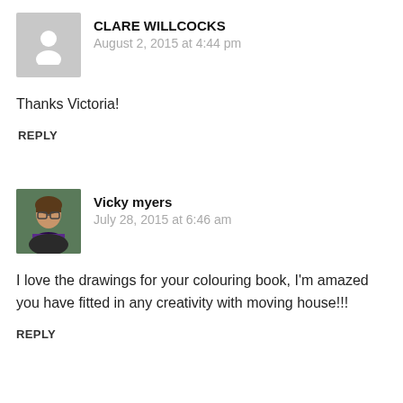[Figure (illustration): Default grey avatar placeholder with white silhouette of a person]
CLARE WILLCOCKS
August 2, 2015 at 4:44 pm
Thanks Victoria!
REPLY
[Figure (photo): Profile photo of Vicky myers - a woman with glasses and a purple scarf]
Vicky myers
July 28, 2015 at 6:46 am
I love the drawings for your colouring book, I'm amazed you have fitted in any creativity with moving house!!!
REPLY